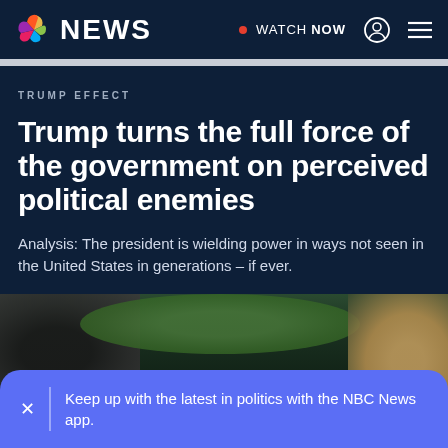NBC NEWS — WATCH NOW
TRUMP EFFECT
Trump turns the full force of the government on perceived political enemies
Analysis: The president is wielding power in ways not seen in the United States in generations – if ever.
[Figure (photo): Outdoor photo showing photographers/press and a figure with trees in background]
Keep up with the latest in politics with the NBC News app.